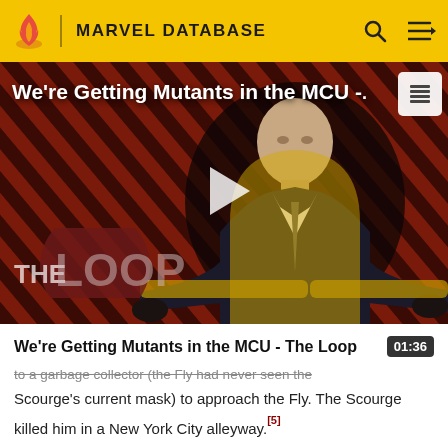MARVEL DATABASE
[Figure (screenshot): Video thumbnail showing a bald man in a suit seated in a yellow chair, with a diagonally striped red/dark background. Title overlay reads 'We're Getting Mutants in the MCU -'. A play button is centered. THE LOOP watermark is in the lower left. A list icon appears top right.]
We're Getting Mutants in the MCU - The Loop
to a garbage collector (the Fly had never seen the Scourge's current mask) to approach the Fly. The Scourge killed him in a New York City alleyway.[5]